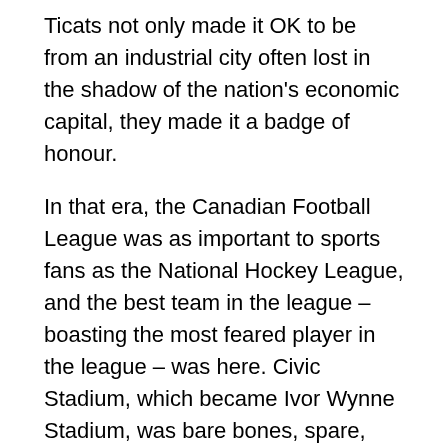Ticats not only made it OK to be from an industrial city often lost in the shadow of the nation's economic capital, they made it a badge of honour.
In that era, the Canadian Football League was as important to sports fans as the National Hockey League, and the best team in the league – boasting the most feared player in the league – was here. Civic Stadium, which became Ivor Wynne Stadium, was bare bones, spare, intimate and intimidating, and even the most gentle Hamiltonians took pride in its no-frills, smash-mouth reputation.
Factually, what Mosca did was play an integral role in establishing the only dynasty in Tiger-Cats history, compete in a record nine Grey Cups, and make the Canadian Football Hall of Fame.
Metaphorically, he defined and crystallized a civic character